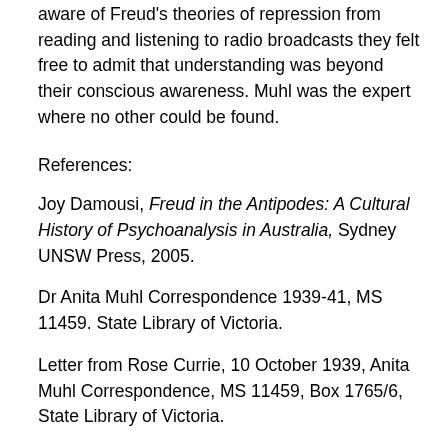aware of Freud's theories of repression from reading and listening to radio broadcasts they felt free to admit that understanding was beyond their conscious awareness. Muhl was the expert where no other could be found.
References:
Joy Damousi, Freud in the Antipodes: A Cultural History of Psychoanalysis in Australia, Sydney UNSW Press, 2005.
Dr Anita Muhl Correspondence 1939-41, MS 11459. State Library of Victoria.
Letter from Rose Currie, 10 October 1939, Anita Muhl Correspondence, MS 11459, Box 1765/6, State Library of Victoria.